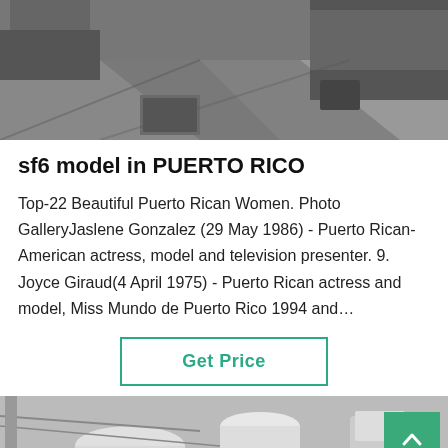[Figure (photo): Top image showing a paved outdoor area with a large truck visible on the right side, appears to be an industrial or utility yard.]
sf6 model in PUERTO RICO
Top-22 Beautiful Puerto Rican Women. Photo GalleryJaslene Gonzalez (29 May 1986) - Puerto Rican-American actress, model and television presenter. 9. Joyce Giraud(4 April 1975) - Puerto Rican actress and model, Miss Mundo de Puerto Rico 1994 and…
[Figure (other): Get Price button with teal/green border and text]
[Figure (photo): Bottom image showing industrial electrical equipment, large white cylindrical transformers or SF6 gas insulated switchgear against a grey sky.]
Leave Message
Chat Online